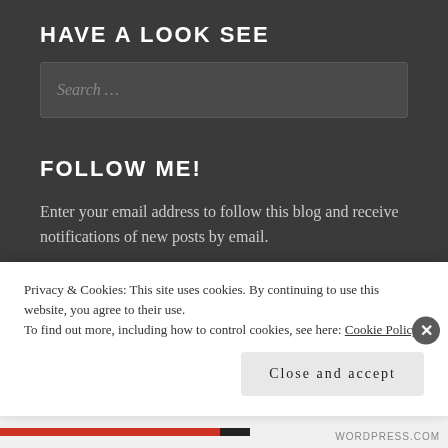HAVE A LOOK SEE
Search ...
FOLLOW ME!
Enter your email address to follow this blog and receive notifications of new posts by email.
Email Address
Privacy & Cookies: This site uses cookies. By continuing to use this website, you agree to their use. To find out more, including how to control cookies, see here: Cookie Policy
Close and accept